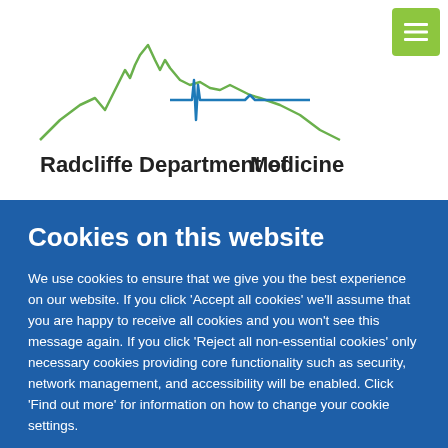[Figure (logo): Radcliffe Department of Medicine logo with green skyline silhouette and blue heartbeat line]
Cookies on this website
We use cookies to ensure that we give you the best experience on our website. If you click 'Accept all cookies' we'll assume that you are happy to receive all cookies and you won't see this message again. If you click 'Reject all non-essential cookies' only necessary cookies providing core functionality such as security, network management, and accessibility will be enabled. Click 'Find out more' for information on how to change your cookie settings.
Accept all cookies
Reject all non-essential cookies
Find out more